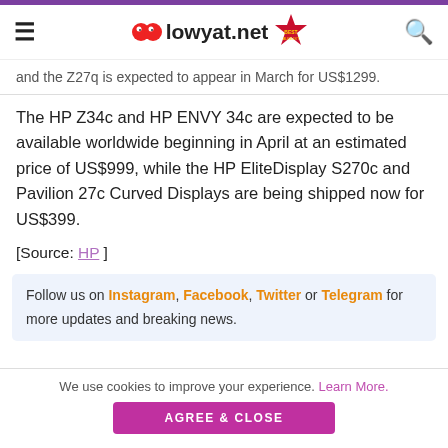lowyat.net
and the Z27q is expected to appear in March for US$1299.
The HP Z34c and HP ENVY 34c are expected to be available worldwide beginning in April at an estimated price of US$999, while the HP EliteDisplay S270c and Pavilion 27c Curved Displays are being shipped now for US$399.
[Source: HP ]
Follow us on Instagram, Facebook, Twitter or Telegram for more updates and breaking news.
We use cookies to improve your experience. Learn More.
AGREE & CLOSE